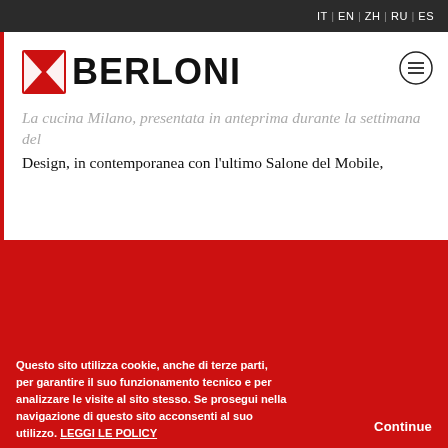IT | EN | ZH | RU | ES
[Figure (logo): Berloni brand logo with red stylized bowtie/X icon and bold BERLONI wordmark in black]
[Figure (other): Circular menu/hamburger icon]
La cucina Milano, presentata in anteprima durante la settimana del Design, in contemporanea con l'ultimo Salone del Mobile,
Questo sito utilizza cookie, anche di terze parti, per garantire il suo funzionamento tecnico e per analizzare le visite al sito stesso. Se prosegui nella navigazione di questo sito acconsenti al suo utilizzo. LEGGI LE POLICY
Continue